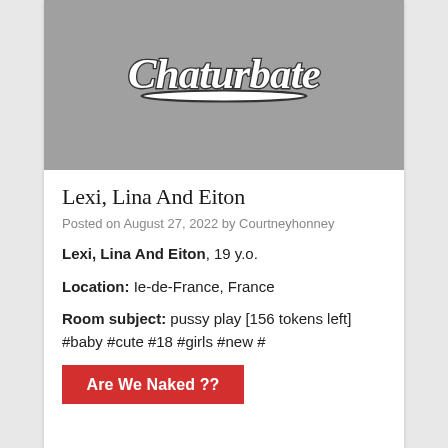[Figure (logo): Chaturbate logo on grey background]
Lexi, Lina And Eiton
Posted on August 27, 2022 by Courtneyhonney
Lexi, Lina And Eiton, 19 y.o.
Location: Ie-de-France, France
Room subject: pussy play [156 tokens left] #baby #cute #18 #girls #new #
Are We Naked ??